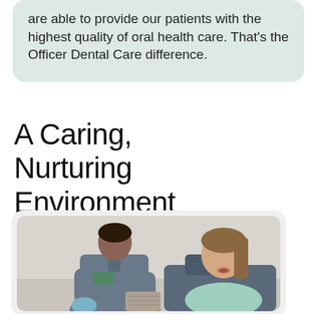are able to provide our patients with the highest quality of oral health care. That's the Officer Dental Care difference.
A Caring, Nurturing Environment
[Figure (photo): A dental professional in grey scrubs with a green logo badge, wearing blue gloves, holding a dental shade guide in front of a seated female patient whose mouth is open, in a dental clinic setting.]